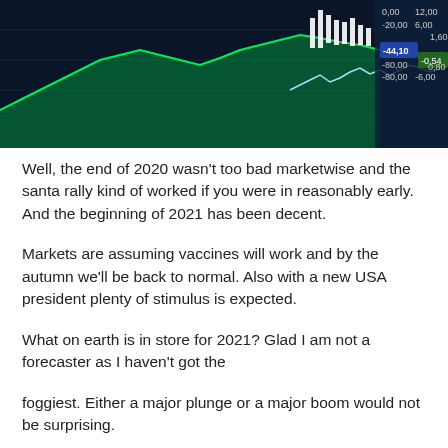[Figure (photo): Stock market trading screen showing green candlestick charts, line graphs, and financial ticker numbers including -44.10, -0.54, 12.00, 6.00, 1.60, 0.80 on a dark blue background]
Well, the end of 2020 wasn't too bad marketwise and the santa rally kind of worked if you were in reasonably early. And the beginning of 2021 has been decent.
Markets are assuming vaccines will work and by the autumn we'll be back to normal. Also with a new USA president plenty of stimulus is expected.
What on earth is in store for 2021? Glad I am not a forecaster as I haven't got the
foggiest. Either a major plunge or a major boom would not be surprising.